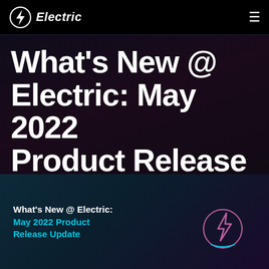Electric
What's New @ Electric: May 2022 Product Release Update
[Figure (screenshot): Preview card showing 'What's New @ Electric: May 2022 Product Release Update' with a cyan lightning bolt icon in a circle, on a dark teal-to-purple gradient background]